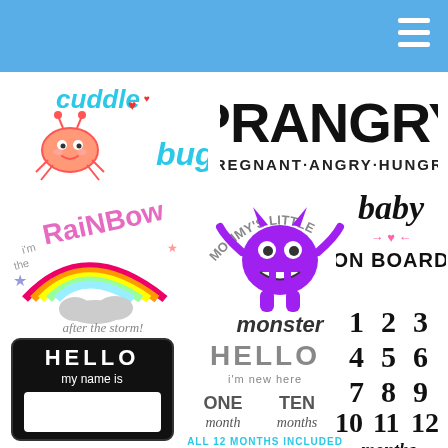[Figure (illustration): Blue navigation bar with hamburger menu icon on right]
[Figure (illustration): Cuddle Bug logo: cyan 'cuddle' text above a cute pink bug cartoon, 'bug' in cyan script below with red hearts]
[Figure (illustration): PRANGRY text logo in bold black with subtitle PREGNANT·ANGRY·HUNGRY]
[Figure (illustration): Rainbow illustration with stars and cloud, text: I'M THE RAINBOW AFTER THE STORM!]
[Figure (illustration): Purple monster mascot with text MOMMY'S LITTLE and MONSTER in black below]
[Figure (illustration): baby ON BOARD text design with pink heart and arrows]
[Figure (illustration): Black HELLO my name is name tag with white box]
[Figure (illustration): HELLO I'M NEW HERE with ONE MONTH TEN MONTHS options, ALL 12 MONTHS INCLUDED in teal]
[Figure (illustration): Baby month milestone grid: 1 2 3 / 4 5 6 / 7 8 9 / 10 11 12 months]